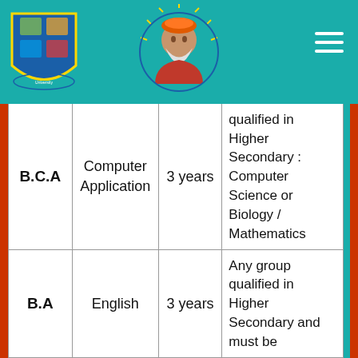[Figure (logo): University/college logo on teal header bar with left shield logo, central guru portrait in circle, and hamburger menu on right]
| Program | Subject | Duration | Eligibility |
| --- | --- | --- | --- |
| B.C.A | Computer Application | 3 years | qualified in Higher Secondary : Computer Science or Biology / Mathematics |
| B.A | English | 3 years | Any group qualified in Higher Secondary and must be |